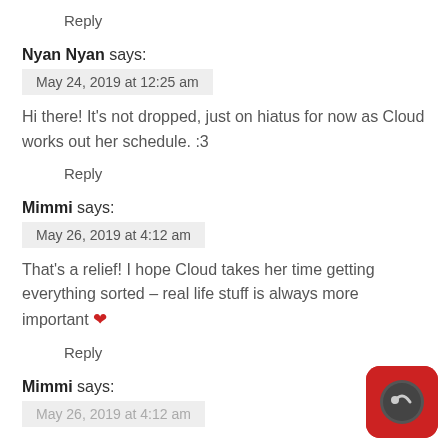Reply
Nyan Nyan says:
May 24, 2019 at 12:25 am
Hi there! It's not dropped, just on hiatus for now as Cloud works out her schedule. :3
Reply
Mimmi says:
May 26, 2019 at 4:12 am
That's a relief! I hope Cloud takes her time getting everything sorted – real life stuff is always more important ❤
Reply
Mimmi says:
May 26, 2019 at 4:12 am